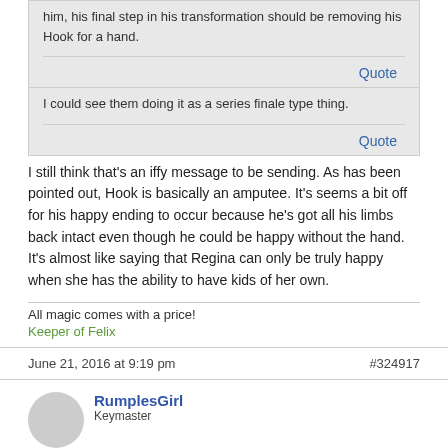him, his final step in his transformation should be removing his Hook for a hand.
Quote
I could see them doing it as a series finale type thing.
Quote
I still think that's an iffy message to be sending. As has been pointed out, Hook is basically an amputee. It's seems a bit off for his happy ending to occur because he's got all his limbs back intact even though he could be happy without the hand. It's almost like saying that Regina can only be truly happy when she has the ability to have kids of her own.
All magic comes with a price!
Keeper of Felix
June 21, 2016 at 9:19 pm
#324917
RumplesGirl
Keymaster